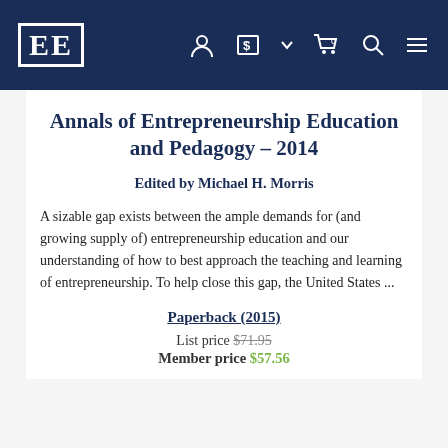EE [logo] with navigation icons: person, currency, cart (0), search, menu
Annals of Entrepreneurship Education and Pedagogy – 2014
Edited by Michael H. Morris
A sizable gap exists between the ample demands for (and growing supply of) entrepreneurship education and our understanding of how to best approach the teaching and learning of entrepreneurship. To help close this gap, the United States ...
Paperback (2015)
List price $71.95
Member price $57.56